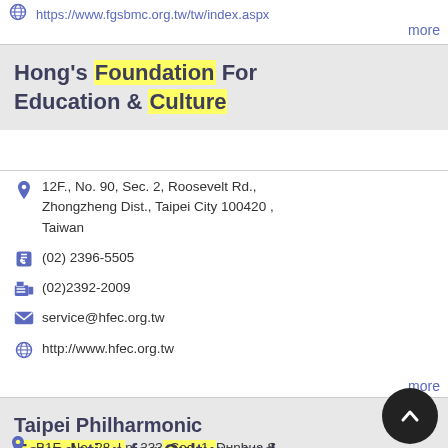https://www.fgsbmc.org.tw/tw/index.aspx
more
Hong's Foundation For Education & Culture
12F., No. 90, Sec. 2, Roosevelt Rd., Zhongzheng Dist., Taipei City 100420 , Taiwan
(02) 2396-5505
(02)2392-2009
service@hfec.org.tw
http://www.hfec.org.tw
more
Taipei Philharmonic Foundation for Culture and Education
B1F., No. 28, Ln. 233, Sec. 1, Dunhua S.